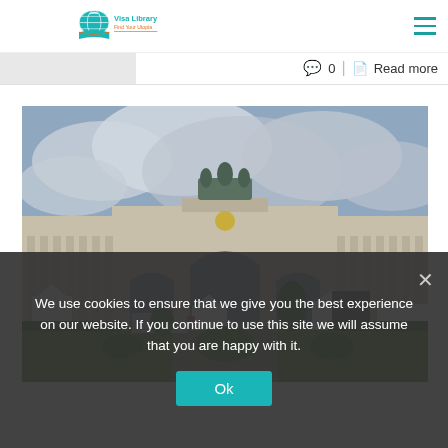Visa Library - Find Your Utopia
0   Read more
[Figure (photo): Triumphal arch (Cinquantenaire/Jubelpark) in Brussels, Belgium, with colonnades, green lawn, cloudy sky, and event tents in the foreground]
We use cookies to ensure that we give you the best experience on our website. If you continue to use this site we will assume that you are happy with it.
Ok